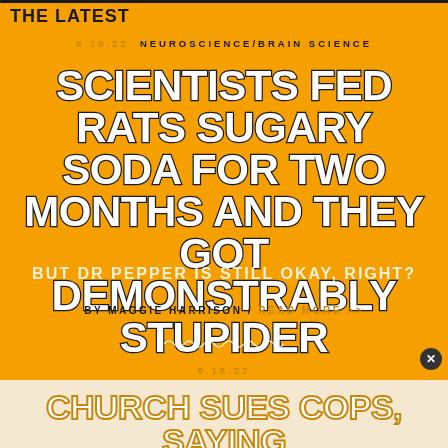THE LATEST
8.18.22  NEUROSCIENCE/BRAIN SCIENCE
SCIENTISTS FED RATS SUGARY SODA FOR TWO MONTHS AND THEY GOT DEMONSTRABLY STUPIDER
BUT DR PEPPER IS STILL OKAY, RIGHT?
BY MAGGIE HARRISON / READ MORE >>
8.18.22
CHURCH SUES COPS, SAYING